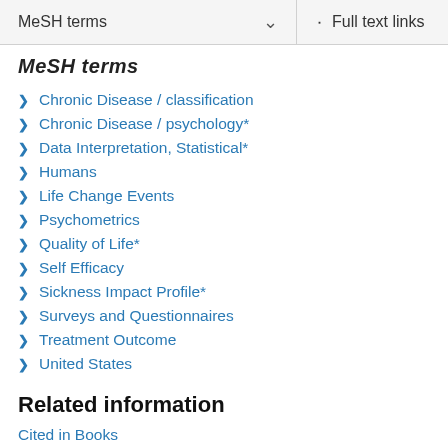MeSH terms  Full text links
MeSH terms
Chronic Disease / classification
Chronic Disease / psychology*
Data Interpretation, Statistical*
Humans
Life Change Events
Psychometrics
Quality of Life*
Self Efficacy
Sickness Impact Profile*
Surveys and Questionnaires
Treatment Outcome
United States
Related information
Cited in Books